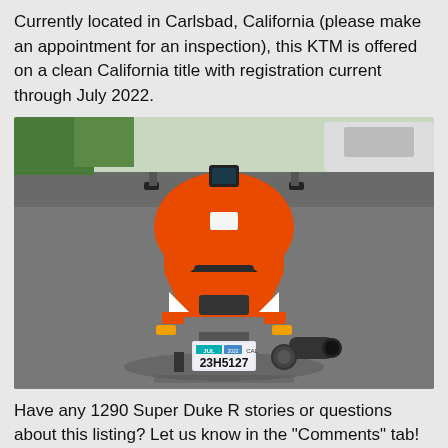Currently located in Carlsbad, California (please make an appointment for an inspection), this KTM is offered on a clean California title with registration current through July 2022.
[Figure (photo): Rear view of an orange KTM 1290 Super Duke R motorcycle parked on asphalt. The California license plate reads 23H5127 with a JUL registration sticker. The bike has orange bodywork, a black seat, turn signals, and a dark exhaust pipe.]
Have any 1290 Super Duke R stories or questions about this listing? Let us know in the "Comments" tab!